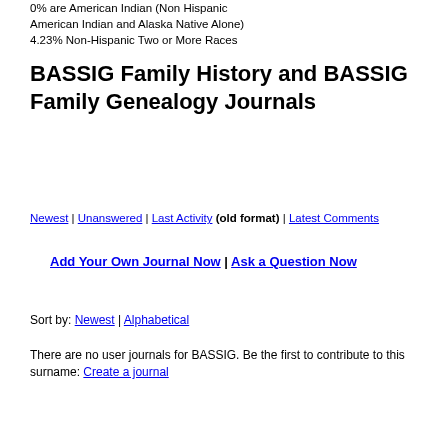0% are American Indian (Non Hispanic American Indian and Alaska Native Alone) 4.23% Non-Hispanic Two or More Races
BASSIG Family History and BASSIG Family Genealogy Journals
Newest | Unanswered | Last Activity (old format) | Latest Comments
Add Your Own Journal Now | Ask a Question Now
Sort by: Newest | Alphabetical
There are no user journals for BASSIG. Be the first to contribute to this surname: Create a journal